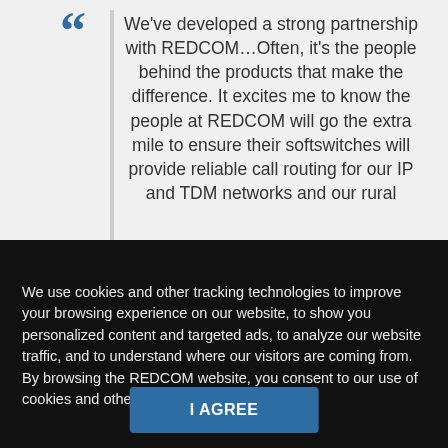[Figure (other): Blue quotation mark icon in the top-left of the quote block]
We've developed a strong partnership with REDCOM...Often, it's the people behind the products that make the difference. It excites me to know the people at REDCOM will go the extra mile to ensure their softswitches will provide reliable call routing for our IP and TDM networks and our rural customers.
We use cookies and other tracking technologies to improve your browsing experience on our website, to show you personalized content and targeted ads, to analyze our website traffic, and to understand where our visitors are coming from. By browsing the REDCOM website, you consent to our use of cookies and other tracking technologies.
I AGREE